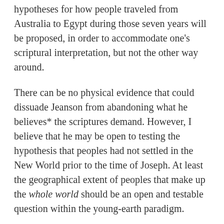hypotheses for how people traveled from Australia to Egypt during those seven years will be proposed, in order to accommodate one's scriptural interpretation, but not the other way around.
There can be no physical evidence that could dissuade Jeanson from abandoning what he believes* the scriptures demand. However, I believe that he may be open to testing the hypothesis that peoples had not settled in the New World prior to the time of Joseph. At least the geographical extent of peoples that make up the whole world should be an open and testable question within the young-earth paradigm.
Let's help him settle that question in our next post when we evaluate the evidence for